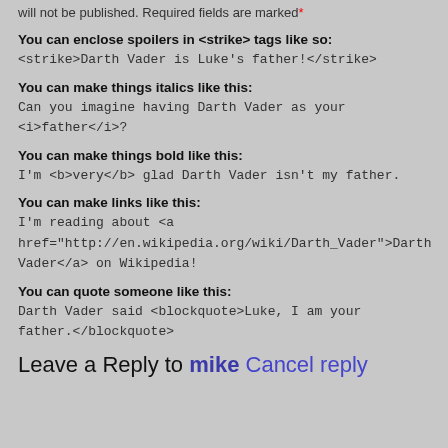will not be published. Required fields are marked*
You can enclose spoilers in <strike> tags like so:
<strike>Darth Vader is Luke's father!</strike>
You can make things italics like this:
Can you imagine having Darth Vader as your <i>father</i>?
You can make things bold like this:
I'm <b>very</b> glad Darth Vader isn't my father.
You can make links like this:
I'm reading about <a href="http://en.wikipedia.org/wiki/Darth_Vader">Darth Vader</a> on Wikipedia!
You can quote someone like this:
Darth Vader said <blockquote>Luke, I am your father.</blockquote>
Leave a Reply to mike Cancel reply